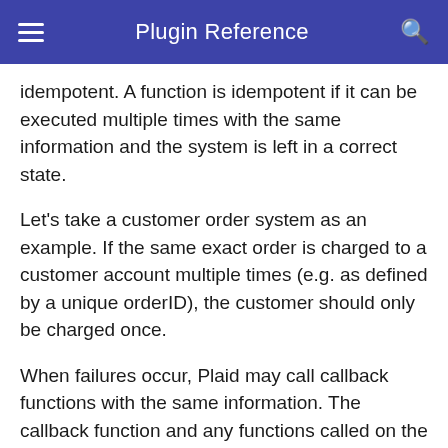Plugin Reference
idempotent. A function is idempotent if it can be executed multiple times with the same information and the system is left in a correct state.
Let's take a customer order system as an example. If the same exact order is charged to a customer account multiple times (e.g. as defined by a unique orderID), the customer should only be charged once.
When failures occur, Plaid may call callback functions with the same information. The callback function and any functions called on the external system must be idempotent.
Error Handling in the Plugin
Plaid automatically handles retries to the VTN and may